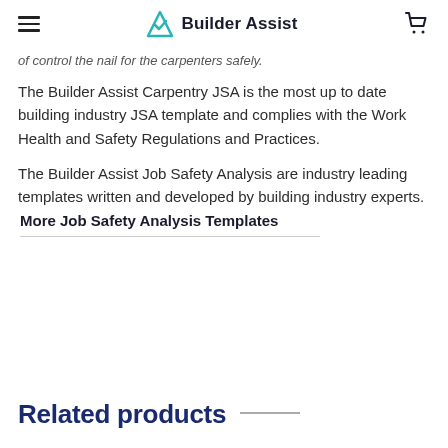Builder Assist
of control the nail for the carpenters safely.
The Builder Assist Carpentry JSA is the most up to date building industry JSA template and complies with the Work Health and Safety Regulations and Practices.
The Builder Assist Job Safety Analysis are industry leading templates written and developed by building industry experts.
More Job Safety Analysis Templates
Related products